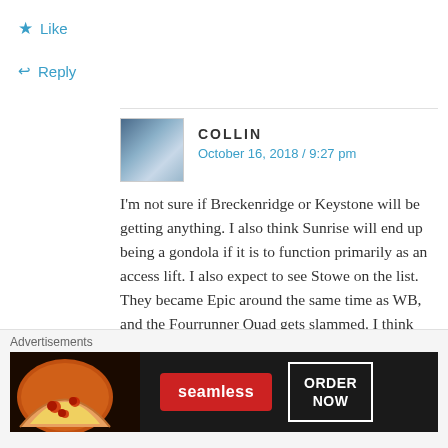★ Like
↩ Reply
COLLIN
October 16, 2018 / 9:27 pm
I'm not sure if Breckenridge or Keystone will be getting anything. I also think Sunrise will end up being a gondola if it is to function primarily as an access lift. I also expect to see Stowe on the list. They became Epic around the same time as WB, and the Fourrunner Quad gets slammed. I think replacing the nearby Lookout Double with another high speed
Advertisements
[Figure (infographic): Seamless food delivery advertisement banner showing pizza and 'ORDER NOW' button]